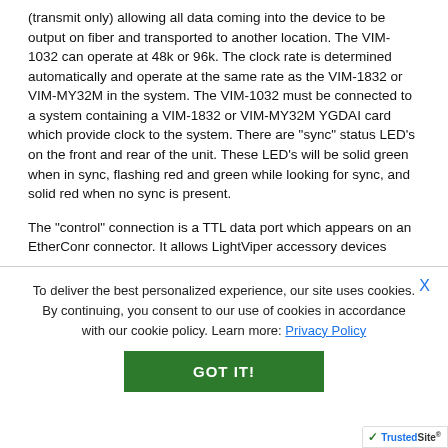(transmit only) allowing all data coming into the device to be output on fiber and transported to another location. The VIM-1032 can operate at 48k or 96k. The clock rate is determined automatically and operate at the same rate as the VIM-1832 or VIM-MY32M in the system. The VIM-1032 must be connected to a system containing a VIM-1832 or VIM-MY32M YGDAI card which provide clock to the system. There are "sync" status LED's on the front and rear of the unit. These LED's will be solid green when in sync, flashing red and green while looking for sync, and solid red when no sync is present.
The "control" connection is a TTL data port which appears on an EtherConr connector. It allows LightViper accessory devices
To deliver the best personalized experience, our site uses cookies. By continuing, you consent to our use of cookies in accordance with our cookie policy. Learn more: Privacy Policy
GOT IT!
[Figure (logo): TrustedSite badge with green checkmark]